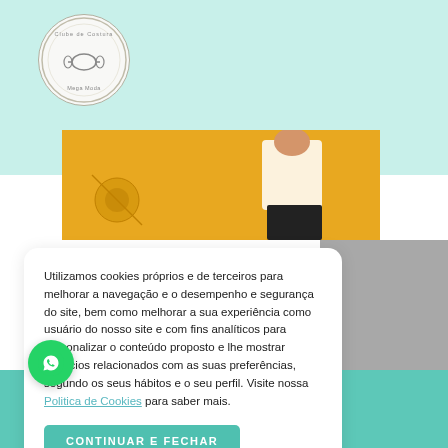[Figure (logo): Circular logo reading 'Clube de Costura Mega Moda' with a small scroll/book icon in the center]
[Figure (photo): Partial photo with orange/yellow background showing a person holding something, likely a sewing or fashion-related image]
Utilizamos cookies próprios e de terceiros para melhorar a navegação e o desempenho e segurança do site, bem como melhorar a sua experiência como usuário do nosso site e com fins analíticos para personalizar o conteúdo proposto e lhe mostrar anúncios relacionados com as suas preferências, segundo os seus hábitos e o seu perfil. Visite nossa Politica de Cookies para saber mais.
CONTINUAR E FECHAR